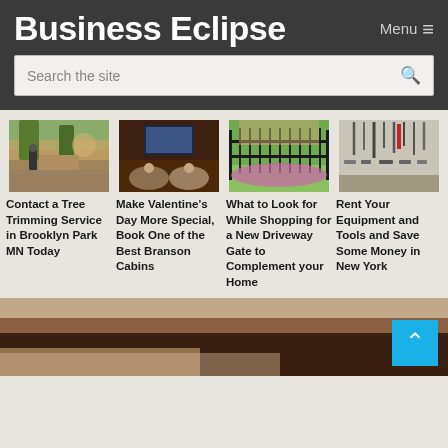Business Eclipse
Menu ≡
Search the site
[Figure (photo): Person in a park with trees and landscaping, tree trimming related]
[Figure (photo): Two people sitting in bean bag chairs watching TV in a cozy cabin room]
[Figure (photo): Black iron driveway gate with flowering bushes and green lawn]
[Figure (photo): Wall of tools and equipment for rent, various hand tools mounted on pegboard]
Contact a Tree Trimming Service in Brooklyn Park MN Today
Make Valentine's Day More Special, Book One of the Best Branson Cabins
What to Look for While Shopping for a New Driveway Gate to Complement your Home
Rent Your Equipment and Tools and Save Some Money in New York
[Figure (photo): Close-up of hands or dark object at bottom of page]